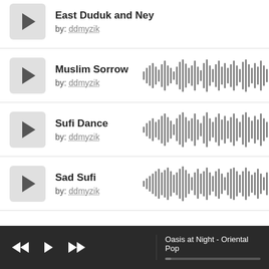East Duduk and Ney by: ddmyzik
Muslim Sorrow by: ddmyzik
Sufi Dance by: ddmyzik
Sad Sufi by: ddmyzik
[Figure (other): Audio waveform for Muslim Sorrow]
[Figure (other): Audio waveform for Sufi Dance]
[Figure (other): Audio waveform for Sad Sufi]
Oasis at Night - Oriental Pop